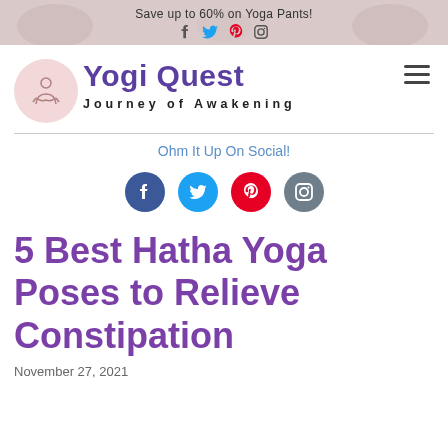Save up to 60% on Yoga Pants!
[Figure (logo): Yogi Quest logo with pink circle containing meditating figure, purple bold text 'Yogi Quest', subtitle 'Journey of Awakening', and hamburger menu icon]
Ohm It Up On Social!
[Figure (infographic): Four social media icons: Facebook (dark blue), Twitter (light blue), Pinterest (red), Instagram (teal/grey)]
5 Best Hatha Yoga Poses to Relieve Constipation
November 27, 2021